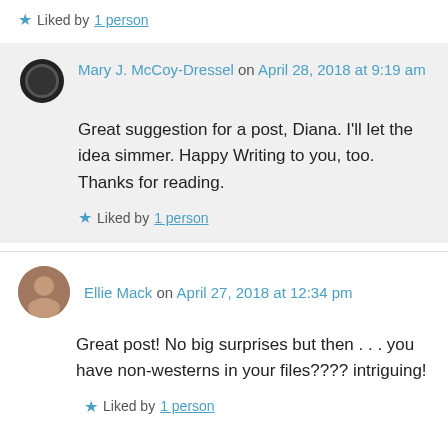★ Liked by 1 person
Mary J. McCoy-Dressel on April 28, 2018 at 9:19 am

Great suggestion for a post, Diana. I'll let the idea simmer. Happy Writing to you, too. Thanks for reading.

★ Liked by 1 person
Ellie Mack on April 27, 2018 at 12:34 pm

Great post! No big surprises but then . . . you have non-westerns in your files???? intriguing!

★ Liked by 1 person